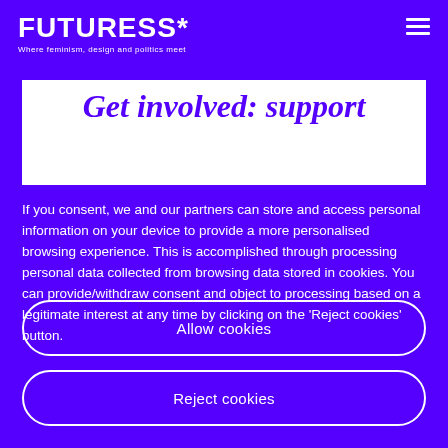FUTURESS* — Where feminism, design and politics meet
Get involved: support
If you consent, we and our partners can store and access personal information on your device to provide a more personalised browsing experience. This is accomplished through processing personal data collected from browsing data stored in cookies. You can provide/withdraw consent and object to processing based on a legitimate interest at any time by clicking on the 'Reject cookies' button.
Allow cookies
Reject cookies